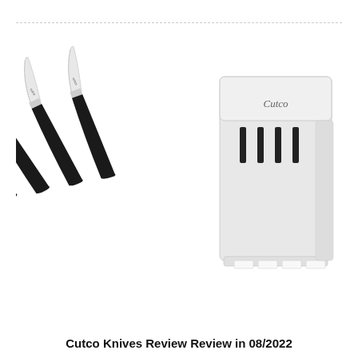[Figure (photo): Four Cutco steak knives with black handles arranged fanned out on the left, and a white Cutco knife block/storage case on the right with four slots, branded with 'Cutco' logo in script.]
Cutco Knives Review Review in 08/2022